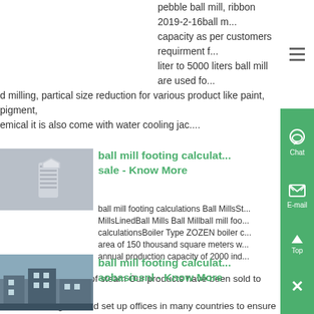pebble ball mill, ribbon 2019-2-16ball m... capacity as per customers requirment f... liter to 5000 liters ball mill are used fo... d milling, partical size reduction for various product like paint, pigment, emical it is also come with water cooling jac....
[Figure (photo): Close-up photo of a metallic bolt/screw with hex head]
ball mill footing calculat... sale - Know More
ball mill footing calculations Ball MillsSt... MillsLinedBall Mills Ball Millball mill foo... calculationsBoiler Type ZOZEN boiler c... area of 150 thousand square meters w... annual production capacity of 2000 ind... iilers and 25000 tons of steam Our products have been sold to more tha... untries and regions and set up offices in many countries to ensure that t...
[Figure (photo): Industrial factory or mill equipment photo]
ball mill footing calculat... aobasicsnl - Know More